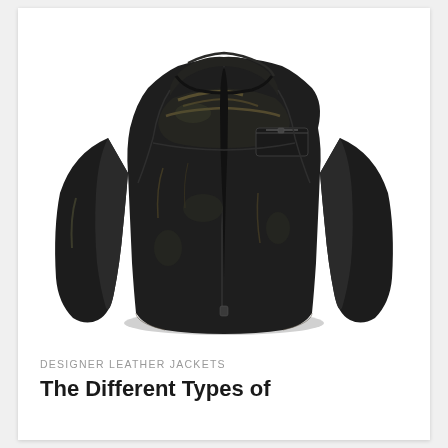[Figure (photo): A distressed black leather jacket with a shirt collar, front zipper, chest pocket with zipper, and worn/aged texture showing brown highlighting on the surface. The jacket is displayed against a white background.]
DESIGNER LEATHER JACKETS
The Different Types of